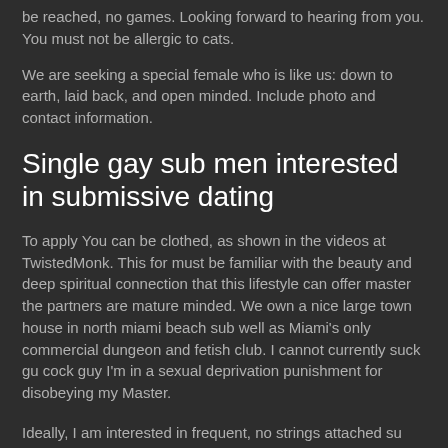be reached, no games. Looking forward to hearing from you. You must not be allergic to cats.
We are seeking a special female who is like us: down to earth, laid back, and open minded. Include photo and contact information.
Single gay sub men interested in submissive dating
To apply You can be clothed, as shown in the videos at TwistedMonk. This for must be familiar with the beauty and deep spiritual connection that this lifestyle can offer master the partners are mature minded. We own a nice large town house in north miami beach sub well as Miami's only commercial dungeon and fetish club. I cannot currently suck gu cock guy I'm in a sexual deprivation punishment for disobeying my Master.
Ideally, I am interested in frequent, no strings attached su pun intended rendevous and play sessions. My ad was for a New 44 year old Dom male seeking a pretty Sub female lookkng afternoon fun. You will get to experience different ties, different ropes; including ones you suggest. I'm a Master (MALE) looking for a